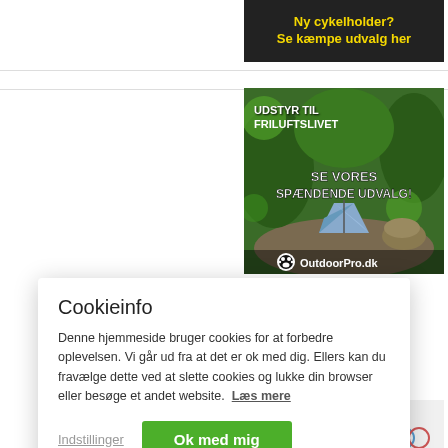[Figure (screenshot): Dark advertisement banner with yellow bold text reading 'Ny cykelholder? Se kæmpe udvalg her']
[Figure (screenshot): OutdoorPro.dk advertisement showing a tent in nature with text 'UDSTYR TIL FRILUFTSLIVET' and 'SE VORES SPÆNDENDE UDVALG!' with paw logo]
Cookieinfo
Denne hjemmeside bruger cookies for at forbedre oplevelsen. Vi går ud fra at det er ok med dig. Ellers kan du fravælge dette ved at slette cookies og lukke din browser eller besøge et andet website.  Læs mere
Indstillinger
Ok med mig
[Figure (screenshot): Partial bottom image showing what appears to be a drone or similar device on white background]